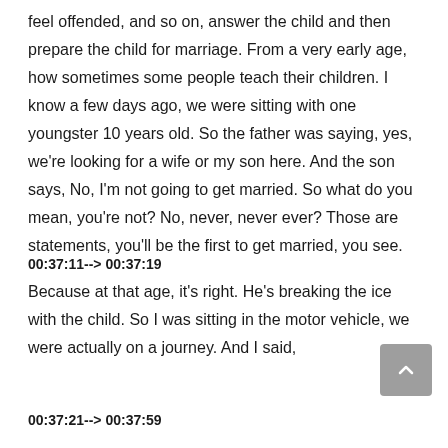feel offended, and so on, answer the child and then prepare the child for marriage. From a very early age, how sometimes some people teach their children. I know a few days ago, we were sitting with one youngster 10 years old. So the father was saying, yes, we're looking for a wife or my son here. And the son says, No, I'm not going to get married. So what do you mean, you're not? No, never, never ever? Those are statements, you'll be the first to get married, you see.
00:37:11--> 00:37:19
Because at that age, it's right. He's breaking the ice with the child. So I was sitting in the motor vehicle, we were actually on a journey. And I said,
00:37:21--> 00:37:59